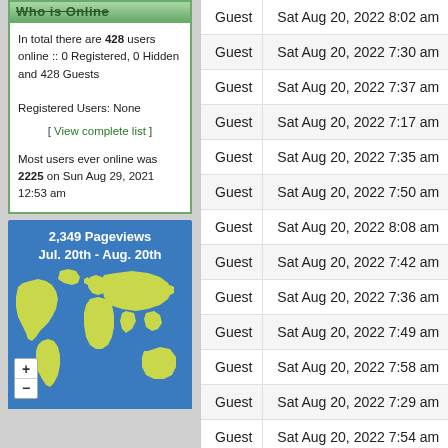Who is Online
In total there are 428 users online :: 0 Registered, 0 Hidden and 428 Guests
Registered Users: None
[ View complete list ]
Most users ever online was 2225 on Sun Aug 29, 2021 12:53 am
[Figure (map): World map showing pageviews. 2,349 Pageviews Jul. 20th - Aug. 20th. Blue background with yellow-green continents. Zoom +/- controls at bottom left.]
| Username | Last active |
| --- | --- |
| Guest | Sat Aug 20, 2022 8:02 am |
| Guest | Sat Aug 20, 2022 7:30 am |
| Guest | Sat Aug 20, 2022 7:37 am |
| Guest | Sat Aug 20, 2022 7:17 am |
| Guest | Sat Aug 20, 2022 7:35 am |
| Guest | Sat Aug 20, 2022 7:50 am |
| Guest | Sat Aug 20, 2022 8:08 am |
| Guest | Sat Aug 20, 2022 7:42 am |
| Guest | Sat Aug 20, 2022 7:36 am |
| Guest | Sat Aug 20, 2022 7:49 am |
| Guest | Sat Aug 20, 2022 7:58 am |
| Guest | Sat Aug 20, 2022 7:29 am |
| Guest | Sat Aug 20, 2022 7:54 am |
| Guest | Sat Aug 20, 2022 7:36 am |
| Guest | Sat Aug 20, 2022 7:45 am |
| Guest | Sat Aug 20, 2022 7:46 am |